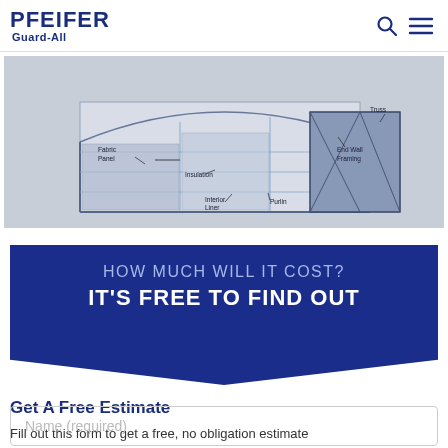PFEIFER Guard-All
[Figure (illustration): 3D engineering diagram of a fabric building structure with labeled components: Fabric Panel, Insulation, Interior Liner, Purlin, End Wall Framing, Truss]
[Figure (infographic): Dark blue pentagon/chevron banner reading 'HOW MUCH WILL IT COST? IT'S FREE TO FIND OUT']
Get A Free Estimate
Fill out this form to get a free, no obligation estimate
Name (required)